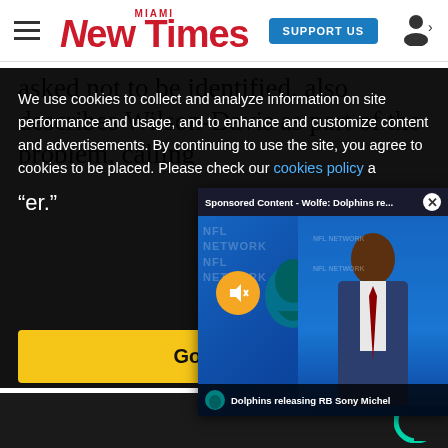Miami New Times | SUPPORT US
asked not to be identified, also describes Wilson-Davis as part of the problem, calling
We use cookies to collect and analyze information on site performance and usage, and to enhance and customize content and advertisements. By continuing to use the site, you agree to cookies to be placed. Please check our cookies policy a
[Figure (screenshot): Sponsored Content video popup: Wolfe: Dolphins re... showing a news presenter in front of a Miami Dolphins NFL Network backdrop. Lower bar reads: Dolphins releasing RB Sony Michel]
Got it!